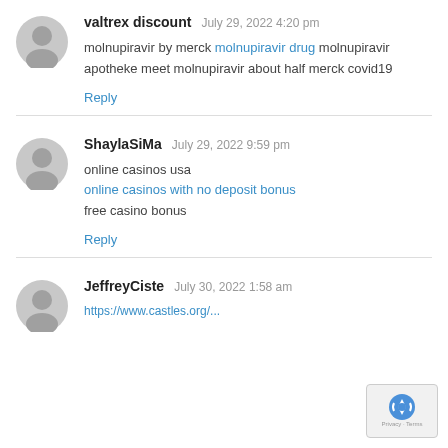[Figure (illustration): Gray default avatar circle for user valtrex discount]
valtrex discount   July 29, 2022 4:20 pm
molnupiravir by merck molnupiravir drug molnupiravir apotheke meet molnupiravir about half merck covid19
Reply
[Figure (illustration): Gray default avatar circle for user ShaylaSiMa]
ShaylaSiMa   July 29, 2022 9:59 pm
online casinos usa
online casinos with no deposit bonus
free casino bonus
Reply
[Figure (illustration): Gray default avatar circle for user JeffreyCiste]
JeffreyCiste   July 30, 2022 1:58 am
[Figure (logo): reCAPTCHA badge in bottom right corner with Privacy and Terms text]